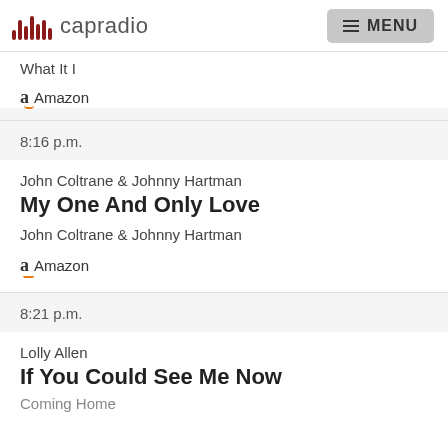capradio MENU
What It I
Amazon
8:16 p.m.
John Coltrane & Johnny Hartman
My One And Only Love
John Coltrane & Johnny Hartman
Amazon
8:21 p.m.
Lolly Allen
If You Could See Me Now
Coming Home